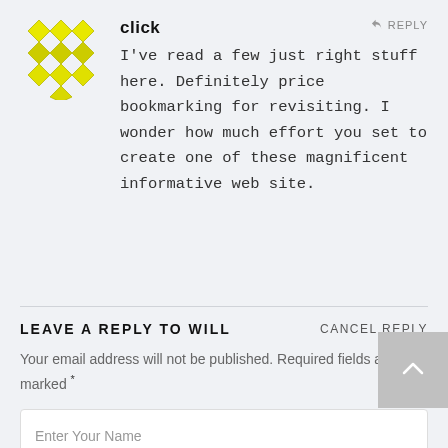[Figure (logo): Yellow diamond/rhombus pattern avatar logo]
click
REPLY
I've read a few just right stuff here. Definitely price bookmarking for revisiting. I wonder how much effort you set to create one of these magnificent informative web site.
LEAVE A REPLY TO WILL
CANCEL REPLY
Your email address will not be published. Required fields are marked *
Enter Your Name
Enter Your Email